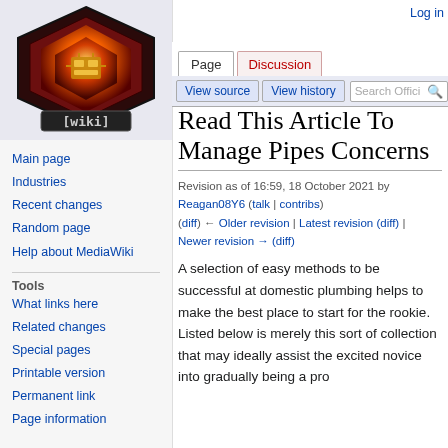[Figure (logo): MediaWiki-style wiki logo: hexagonal orange/red gem with gold circuit board icon and [wiki] text below]
Log in
Page | Discussion | View source | View history | Search Offici
Read This Article To Manage Pipes Concerns
Revision as of 16:59, 18 October 2021 by Reagan08Y6 (talk | contribs)
(diff) ← Older revision | Latest revision (diff) | Newer revision → (diff)
Main page
Industries
Recent changes
Random page
Help about MediaWiki
Tools
What links here
Related changes
Special pages
Printable version
Permanent link
Page information
A selection of easy methods to be successful at domestic plumbing helps to make the best place to start for the rookie. Listed below is merely this sort of collection that may ideally assist the excited novice into gradually being a pro